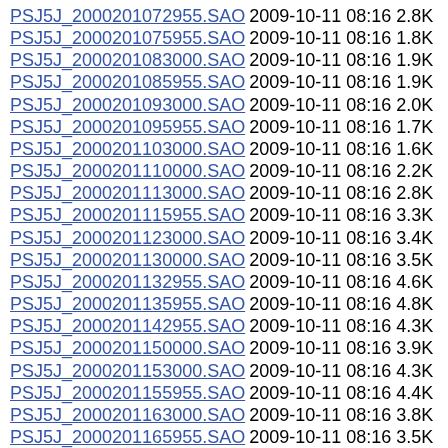PSJ5J_2000201072955.SAO 2009-10-11 08:16 2.8K
PSJ5J_2000201075955.SAO 2009-10-11 08:16 1.8K
PSJ5J_2000201083000.SAO 2009-10-11 08:16 1.9K
PSJ5J_2000201085955.SAO 2009-10-11 08:16 1.9K
PSJ5J_2000201093000.SAO 2009-10-11 08:16 2.0K
PSJ5J_2000201095955.SAO 2009-10-11 08:16 1.7K
PSJ5J_2000201103000.SAO 2009-10-11 08:16 1.6K
PSJ5J_2000201110000.SAO 2009-10-11 08:16 2.2K
PSJ5J_2000201113000.SAO 2009-10-11 08:16 2.8K
PSJ5J_2000201115955.SAO 2009-10-11 08:16 3.3K
PSJ5J_2000201123000.SAO 2009-10-11 08:16 3.4K
PSJ5J_2000201130000.SAO 2009-10-11 08:16 3.5K
PSJ5J_2000201132955.SAO 2009-10-11 08:16 4.6K
PSJ5J_2000201135955.SAO 2009-10-11 08:16 4.8K
PSJ5J_2000201142955.SAO 2009-10-11 08:16 4.3K
PSJ5J_2000201150000.SAO 2009-10-11 08:16 3.9K
PSJ5J_2000201153000.SAO 2009-10-11 08:16 4.3K
PSJ5J_2000201155955.SAO 2009-10-11 08:16 4.4K
PSJ5J_2000201163000.SAO 2009-10-11 08:16 3.8K
PSJ5J_2000201165955.SAO 2009-10-11 08:16 3.5K